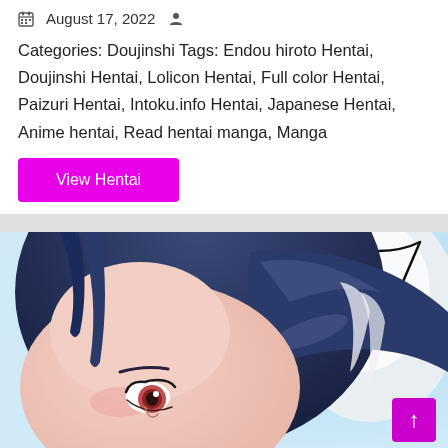August 17, 2022
Categories: Doujinshi Tags: Endou hiroto Hentai, Doujinshi Hentai, Lolicon Hentai, Full color Hentai, Paizuri Hentai, Intoku.info Hentai, Japanese Hentai, Anime hentai, Read hentai manga, Manga
View Hentai
[Figure (illustration): Anime/manga style illustration of a young woman with dark blue hair, close-up face view with a speech bubble outline in the upper right corner. A small magenta scroll-to-top button is visible in the lower right.]